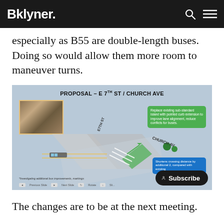Bklyner.
especially as B55 are double-length buses. Doing so would allow them more room to maneuver turns.
[Figure (photo): A presentation slide titled 'PROPOSAL – E 7TH ST / CHURCH AVE' showing an aerial/isometric view of a street intersection proposal with green and blue callout boxes. The green callout reads 'Replace existing sub-standard island with pointed curb extension to improve lane alignment, reduce conflicts for buses.' The blue callout reads 'Shortens crossing distance by additional 2, compared with existing.' A footnote says '*Investigating additional bus improvements, markings'. Navigation buttons at bottom show Previous Slide, Next Slide, Rotate, Slide. A Subscribe button overlay is visible at the bottom right.]
The changes are to be at the next meeting.